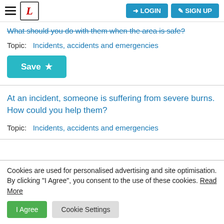LOGIN  SIGN UP
What should you do with them when the area is safe?
Topic:  Incidents, accidents and emergencies
Save ☆
At an incident, someone is suffering from severe burns. How could you help them?
Topic:  Incidents, accidents and emergencies
Cookies are used for personalised advertising and site optimisation. By clicking "I Agree", you consent to the use of these cookies. Read More
I Agree  Cookie Settings